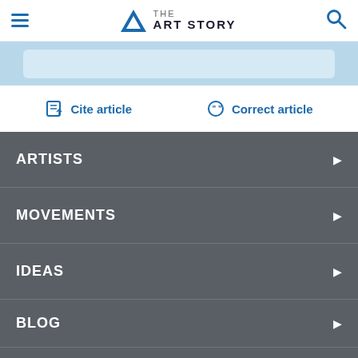THE ART STORY
[Figure (screenshot): Light blue banner/search bar area]
Cite article
Correct article
ARTISTS
MOVEMENTS
IDEAS
BLOG
ABOUT US
DONATE